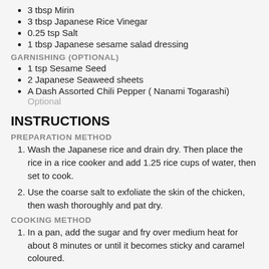3 tbsp Mirin
3 tbsp Japanese Rice Vinegar
0.25 tsp Salt
1 tbsp Japanese sesame salad dressing
GARNISHING (OPTIONAL)
1 tsp Sesame Seed
2 Japanese Seaweed sheets
A Dash Assorted Chili Pepper ( Nanami Togarashi) Optional
INSTRUCTIONS
PREPARATION METHOD
Wash the Japanese rice and drain dry. Then place the rice in a rice cooker and add 1.25 rice cups of water, then set to cook.
Use the coarse salt to exfoliate the skin of the chicken, then wash thoroughly and pat dry.
COOKING METHOD
In a pan, add the sugar and fry over medium heat for about 8 minutes or until it becomes sticky and caramel coloured.
Place the chicken...